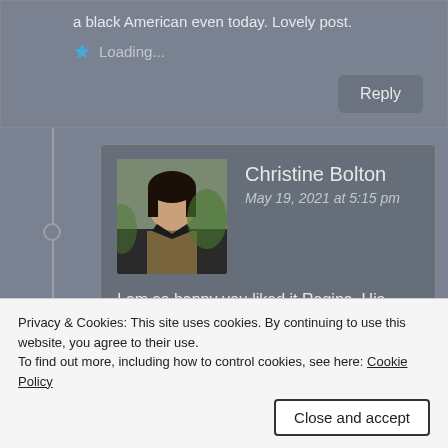a black American even today. Lovely post.
Loading...
Reply
Christine Bolton
May 19, 2021 at 5:15 pm
[Figure (photo): Profile photo of Christine Bolton, a woman with dark hair]
I am so happy you liked it Regina. His words have always touched me and in the times we now live in his work has been a source of relief for
Privacy & Cookies: This site uses cookies. By continuing to use this website, you agree to their use.
To find out more, including how to control cookies, see here: Cookie Policy
Close and accept